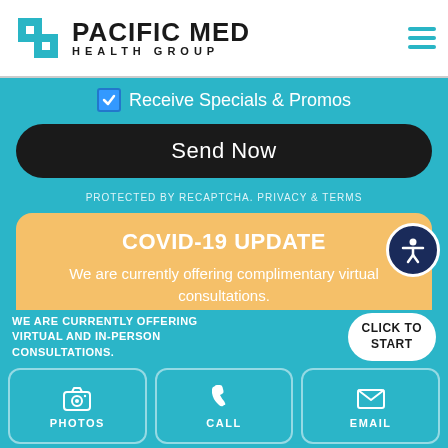[Figure (logo): Pacific Med Health Group logo with teal cross/arrow icon and company name]
Receive Specials & Promos
Send Now
PROTECTED BY RECAPTCHA. PRIVACY & TERMS
COVID-19 UPDATE
We are currently offering complimentary virtual consultations.
GET STARTED
WE ARE CURRENTLY OFFERING VIRTUAL AND IN-PERSON CONSULTATIONS.
CLICK TO START
PHOTOS
CALL
EMAIL